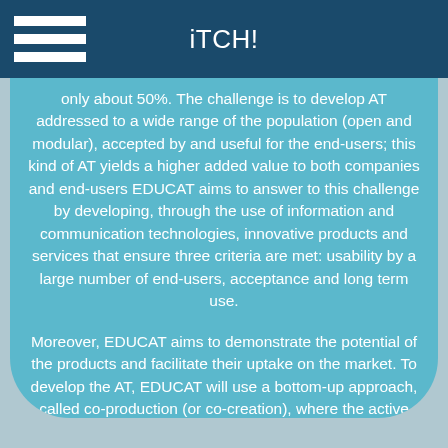iTCH!
only about 50%. The challenge is to develop AT addressed to a wide range of the population (open and modular), accepted by and useful for the end-users; this kind of AT yields a higher added value to both companies and end-users EDUCAT aims to answer to this challenge by developing, through the use of information and communication technologies, innovative products and services that ensure three criteria are met: usability by a large number of end-users, acceptance and long term use.
Moreover, EDUCAT aims to demonstrate the potential of the products and facilitate their uptake on the market. To develop the AT, EDUCAT will use a bottom-up approach, called co-production (or co-creation), where the active participation of end-users (disabled/elderly people, caregivers), health professionals, researchers and companies is essential.